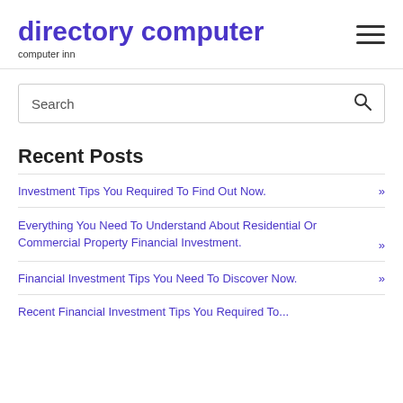directory computer
computer inn
[Figure (other): Hamburger menu icon (three horizontal lines)]
Search
Recent Posts
Investment Tips You Required To Find Out Now. »
Everything You Need To Understand About Residential Or Commercial Property Financial Investment. »
Financial Investment Tips You Need To Discover Now. »
Recent Financial Investment Tips You Required To...